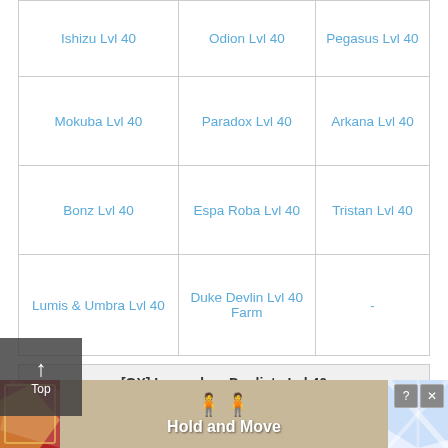|  |  |  |
| --- | --- | --- |
| Ishizu Lvl 40 | Odion Lvl 40 | Pegasus Lvl 40 |
| Mokuba Lvl 40 | Paradox Lvl 40 | Arkana Lvl 40 |
| Bonz Lvl 40 | Espa Roba Lvl 40 | Tristan Lvl 40 |
| Lumis & Umbra Lvl 40 | Duke Devlin Lvl 40 Farm | - |
| [GX] Legendary Duelists Lvl 40 |
| --- |
| Jaden Yuki | Zane Truesdale | Aster Phoenix |
| Jesse Anderson | Chazz Princeton | Alexis Rhodes |
[Figure (screenshot): Advertisement banner at the bottom showing 'Hold and Move' with two blue character icons and card artwork on sides, with close/help buttons]